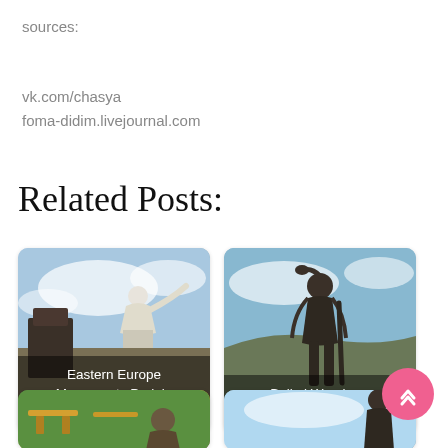sources:
vk.com/chasya
foma-didim.livejournal.com
Related Posts:
[Figure (photo): Eastern Europe Monuments Park in Manchuria — outdoor statue of a woman figure against cloudy sky]
Eastern Europe Monuments Park in Manchuria
[Figure (photo): Baikal Wanderer Monument — dark bronze statue of a traveler with a staff against sky and hills]
Baikal Wanderer Monument
[Figure (photo): Partially visible — statue seated on bench in a park with yellow benches and green grass]
[Figure (photo): Partially visible — statue figure against blue sky]